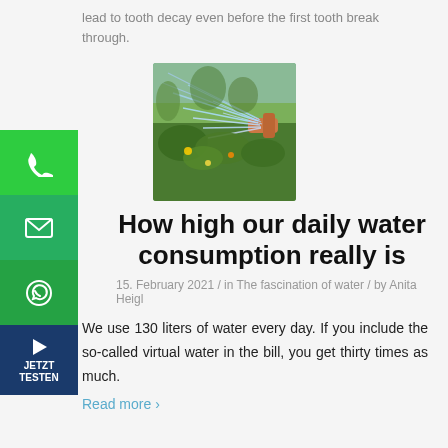lead to tooth decay even before the first tooth break through.
[Figure (photo): Person watering a garden with a hose, water spraying in arcs over green plants.]
How high our daily water consumption really is
15. February 2021 / in The fascination of water / by Anita Heigl
We use 130 liters of water every day. If you include the so-called virtual water in the bill, you get thirty times as much.
Read more >